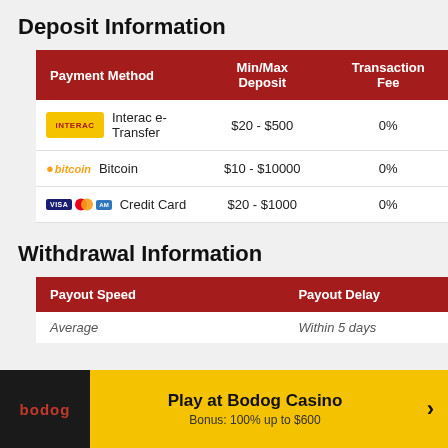Deposit Information
| Payment Method | Min/Max Deposit | Transaction Fee |
| --- | --- | --- |
| Interac e-Transfer | $20 - $500 | 0% |
| Bitcoin | $10 - $10000 | 0% |
| Credit Card | $20 - $1000 | 0% |
Withdrawal Information
| Payout Speed | Payout Delay |
| --- | --- |
| Average | Within 5 days |
Play at Bodog Casino
Bonus: 100% up to $600